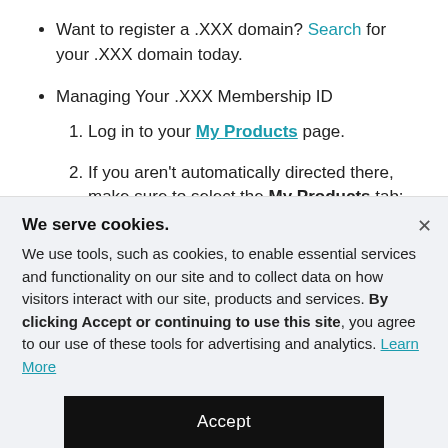Want to register a .XXX domain? Search for your .XXX domain today.
Managing Your .XXX Membership ID
1. Log in to your My Products page.
2. If you aren't automatically directed there, make sure to select the My Products tab:
We serve cookies.
We use tools, such as cookies, to enable essential services and functionality on our site and to collect data on how visitors interact with our site, products and services. By clicking Accept or continuing to use this site, you agree to our use of these tools for advertising and analytics. Learn More
Accept
Decline
Manage Settings
XXX. XXXXXXXX XX XXXXX XX XXXX XX XXXXXXX?